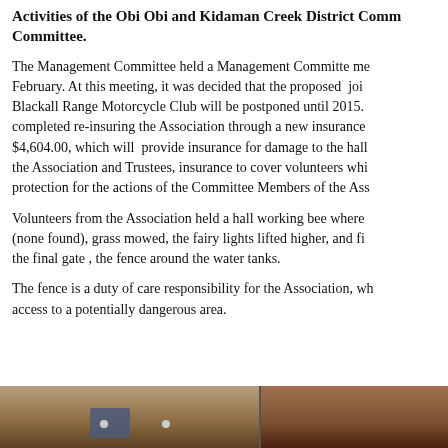Activities of the Obi Obi and Kidaman Creek District Community Committee.
The Management Committee held a Management Committee meeting in February. At this meeting, it was decided that the proposed joint with Blackall Range Motorcycle Club will be postponed until 2015. The completed re-insuring the Association through a new insurance at $4,604.00, which will provide insurance for damage to the hall, the Association and Trustees, insurance to cover volunteers while protection for the actions of the Committee Members of the Association.
Volunteers from the Association held a hall working bee where (none found), grass mowed, the fairy lights lifted higher, and finally the final gate , the fence around the water tanks.
The fence is a duty of care responsibility for the Association, which access to a potentially dangerous area.
[Figure (photo): Photo strip at the bottom of the page showing what appears to be wooden fence or gate elements, partially visible.]